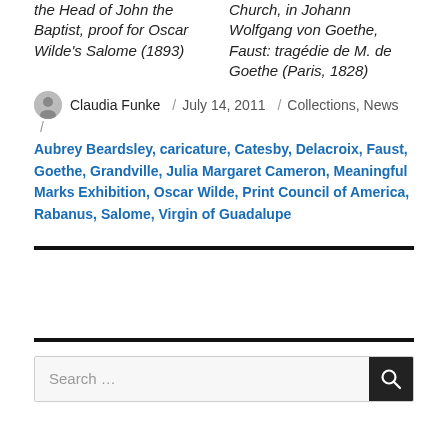the Head of John the Baptist, proof for Oscar Wilde's Salome (1893)
Church, in Johann Wolfgang von Goethe, Faust: tragédie de M. de Goethe (Paris, 1828)
Claudia Funke / July 14, 2011 / Collections, News / Aubrey Beardsley, caricature, Catesby, Delacroix, Faust, Goethe, Grandville, Julia Margaret Cameron, Meaningful Marks Exhibition, Oscar Wilde, Print Council of America, Rabanus, Salome, Virgin of Guadalupe